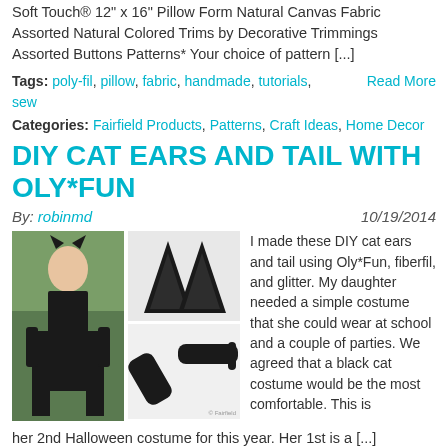Soft Touch® 12" x 16" Pillow Form Natural Canvas Fabric Assorted Natural Colored Trims by Decorative Trimmings Assorted Buttons Patterns* Your choice of pattern [...]
Tags: poly-fil, pillow, fabric, handmade, tutorials, sew   Read More
Categories: Fairfield Products, Patterns, Craft Ideas, Home Decor
DIY CAT EARS AND TAIL WITH OLY*FUN
By: robinmd   10/19/2014
[Figure (photo): Left: girl in black cat costume outdoors. Right top: two black glittery cat ear shapes. Right bottom: black cat tail accessory on white background with Fairfield watermark.]
I made these DIY cat ears and tail using Oly*Fun, fiberfil, and glitter. My daughter needed a simple costume that she could wear at school and a couple of parties. We agreed that a black cat costume would be the most comfortable. This is her 2nd Halloween costume for this year. Her 1st is a [...]